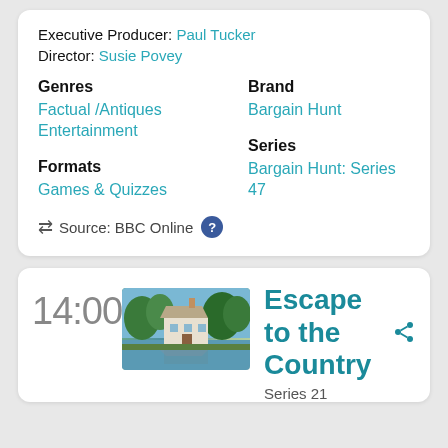Executive Producer: Paul Tucker
Director: Susie Povey
Genres
Factual / Antiques Entertainment
Brand
Bargain Hunt
Formats
Games & Quizzes
Series
Bargain Hunt: Series 47
Source: BBC Online
14:00
[Figure (photo): A countryside cottage reflected in a pond, surrounded by trees and greenery]
Escape to the Country
Series 21